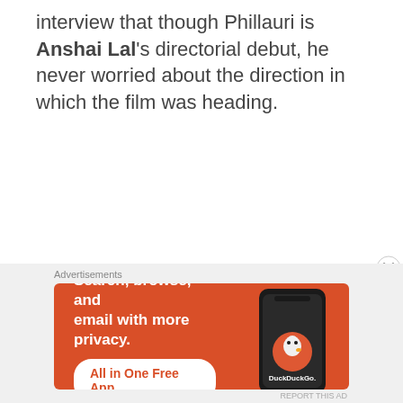interview that though Phillauri is Anshai Lal's directorial debut, he never worried about the direction in which the film was heading.
[Figure (screenshot): DuckDuckGo advertisement banner with orange background. Text reads 'Search, browse, and email with more privacy. All in One Free App' with a phone graphic and DuckDuckGo logo.]